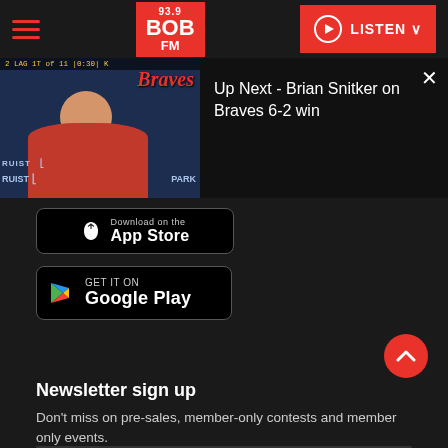93.9 BOB FM — LISTEN
[Figure (screenshot): Video thumbnail showing Brian Snitker press conference with Atlanta Braves branding and Truist Park backdrop]
Up Next - Brian Snitker on Braves 6-2 win
[Figure (logo): Download on the App Store button]
[Figure (logo): Get it on Google Play button]
Newsletter sign up
Don't miss on pre-sales, member-only contests and member only events.